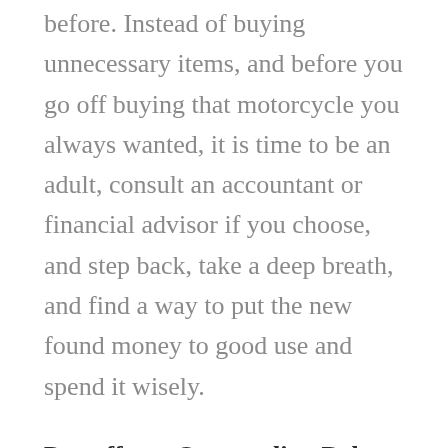before. Instead of buying unnecessary items, and before you go off buying that motorcycle you always wanted, it is time to be an adult, consult an accountant or financial advisor if you choose, and step back, take a deep breath, and find a way to put the new found money to good use and spend it wisely.
Pay off any Outstanding Debt
Sure it is a boring option that does not net you a lot of fun, but one thing it does it get you out of debt and releases the chains a bit to your